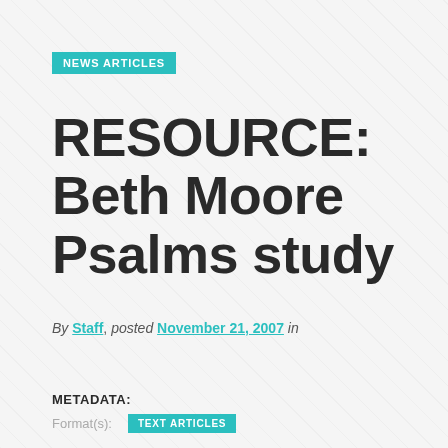NEWS ARTICLES
RESOURCE: Beth Moore Psalms study
By Staff, posted November 21, 2007 in
METADATA:
Format(s):
TEXT ARTICLES